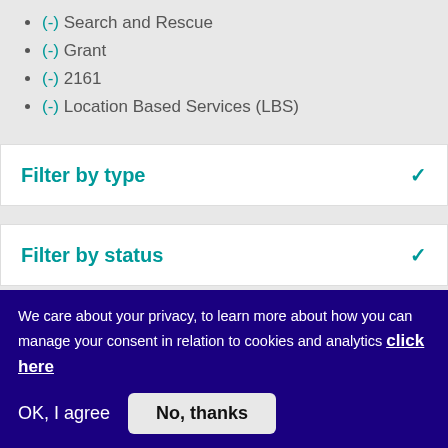(-) Search and Rescue
(-) Grant
(-) 2161
(-) Location Based Services (LBS)
Filter by type
Filter by status
Filter by segment
We care about your privacy, to learn more about how you can manage your consent in relation to cookies and analytics click here
OK, I agree
No, thanks